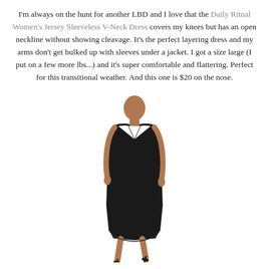I'm always on the hunt for another LBD and I love that the Daily Ritual Women's Jersey Sleeveless V-Neck Dress covers my knees but has an open neckline without showing cleavage. It's the perfect layering dress and my arms don't get bulked up with sleeves under a jacket. I got a size large (I put on a few more lbs...) and it's super comfortable and flattering. Perfect for this transitional weather. And this one is $20 on the nose.
[Figure (photo): A woman wearing a black sleeveless V-neck knee-length jersey dress with strappy sandals, walking against a white background.]